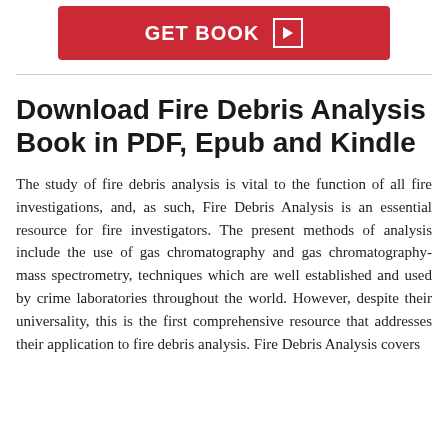[Figure (other): Red GET BOOK button with play icon]
Download Fire Debris Analysis Book in PDF, Epub and Kindle
The study of fire debris analysis is vital to the function of all fire investigations, and, as such, Fire Debris Analysis is an essential resource for fire investigators. The present methods of analysis include the use of gas chromatography and gas chromatography-mass spectrometry, techniques which are well established and used by crime laboratories throughout the world. However, despite their universality, this is the first comprehensive resource that addresses their application to fire debris analysis. Fire Debris Analysis covers